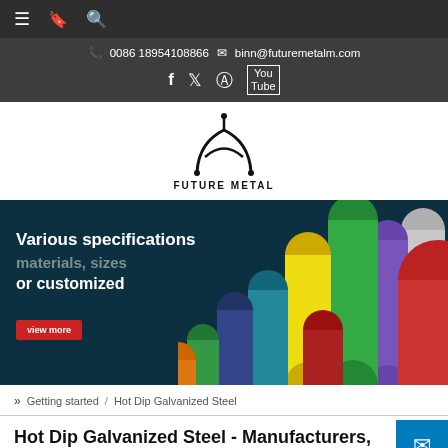Navigation bar with menu, bookmark, and search icons
0086 18954108866  binn@futuremetalm.com
[Figure (logo): Future Metal company logo - stylized metallic symbol above text FUTURE METAL]
[Figure (illustration): Hero banner with dark teal background showing colorful metal tubes/pipes in green, yellow, red, purple, gray colors. Text: Various specifications, materials, sizes, or customized. View more button in red.]
» Getting started / Hot Dip Galvanized Steel
Hot Dip Galvanized Steel - Manufacturers, Factory, Suppliers From China